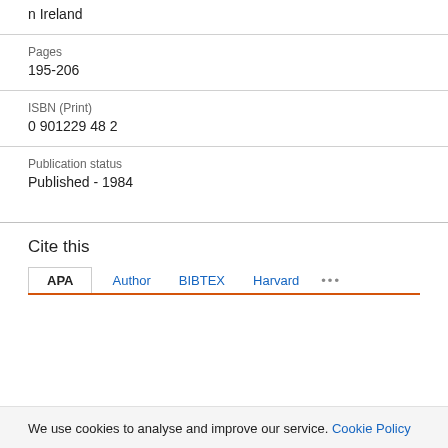n Ireland
Pages
195-206
ISBN (Print)
0 901229 48 2
Publication status
Published - 1984
Cite this
APA  Author  BIBTEX  Harvard  ...
We use cookies to analyse and improve our service. Cookie Policy